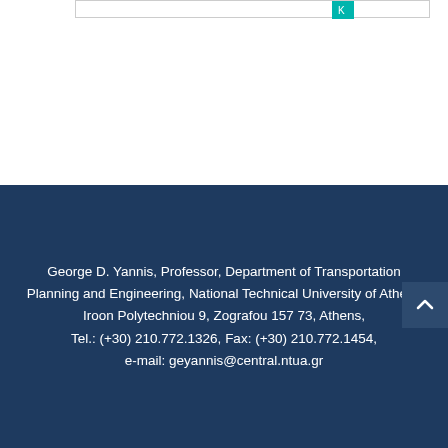George D. Yannis, Professor, Department of Transportation Planning and Engineering, National Technical University of Athens
Iroon Polytechniou 9, Zografou 157 73, Athens,
Tel.: (+30) 210.772.1326, Fax: (+30) 210.772.1454,
e-mail: geyannis@central.ntua.gr